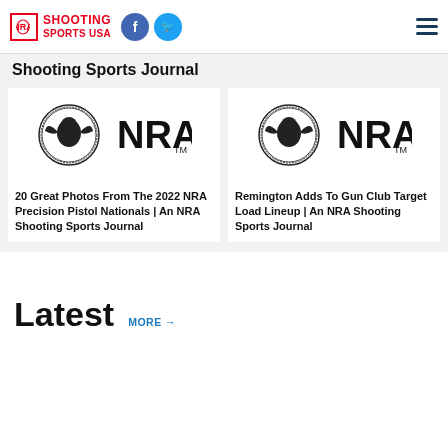NRA Shooting Sports USA — header with social icons
Shooting Sports Journal
[Figure (logo): NRA logo (eagle emblem + NRA text) for article: 20 Great Photos From The 2022 NRA Precision Pistol Nationals]
20 Great Photos From The 2022 NRA Precision Pistol Nationals | An NRA Shooting Sports Journal
[Figure (logo): NRA logo (eagle emblem + NRA text) for article: Remington Adds To Gun Club Target Load Lineup]
Remington Adds To Gun Club Target Load Lineup | An NRA Shooting Sports Journal
Latest MORE →